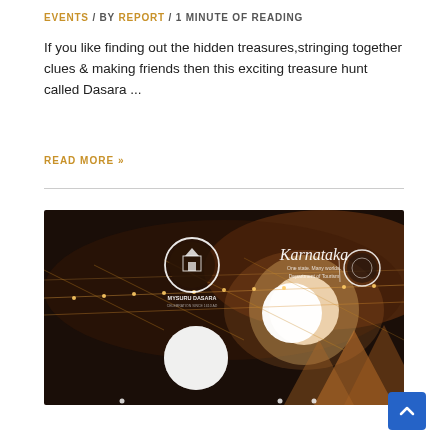EVENTS / BY REPORT / 1 MINUTE OF READING
If you like finding out the hidden treasures,stringing together clues & making friends then this exciting treasure hunt called Dasara ...
READ MORE »
[Figure (photo): Mysuru Dasara event banner showing decorated venue with globe lights, string lights, and Karnataka Department of Tourism branding. Logos for Mysuru Dasara and Karnataka One State Many Worlds visible.]
[Figure (other): Blue scroll-to-top button with upward chevron arrow]